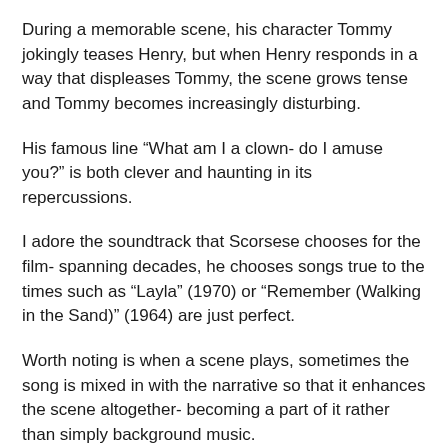During a memorable scene, his character Tommy jokingly teases Henry, but when Henry responds in a way that displeases Tommy, the scene grows tense and Tommy becomes increasingly disturbing.
His famous line “What am I a clown- do I amuse you?” is both clever and haunting in its repercussions.
I adore the soundtrack that Scorsese chooses for the film- spanning decades, he chooses songs true to the times such as “Layla” (1970) or “Remember (Walking in the Sand)” (1964) are just perfect.
Worth noting is when a scene plays, sometimes the song is mixed in with the narrative so that it enhances the scene altogether- becoming a part of it rather than simply background music.